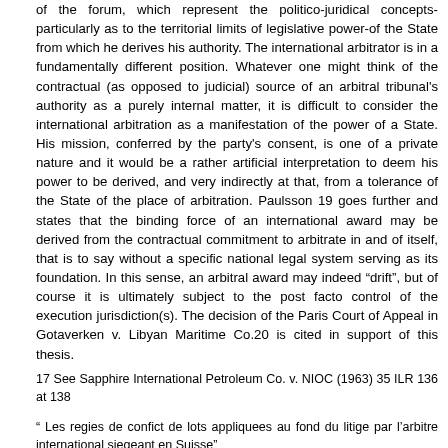of the forum, which represent the politico-juridical concepts-particularly as to the territorial limits of legislative power-of the State from which he derives his authority. The international arbitrator is in a fundamentally different position. Whatever one might think of the contractual (as opposed to judicial) source of an arbitral tribunal's authority as a purely internal matter, it is difficult to consider the international arbitration as a manifestation of the power of a State. His mission, conferred by the party's consent, is one of a private nature and it would be a rather artificial interpretation to deem his power to be derived, and very indirectly at that, from a tolerance of the State of the place of arbitration. Paulsson 19 goes further and states that the binding force of an international award may be derived from the contractual commitment to arbitrate in and of itself, that is to say without a specific national legal system serving as its foundation. In this sense, an arbitral award may indeed "drift", but of course it is ultimately subject to the post facto control of the execution jurisdiction(s). The decision of the Paris Court of Appeal in Gotaverken v. Libyan Maritime Co.20 is cited in support of this thesis.
17 See Sapphire International Petroleum Co. v. NIOC (1963) 35 ILR 136 at 138
" Les regies de confict de lots appliquees au fond du litige par l'arbitre international siegeant en Suisse"